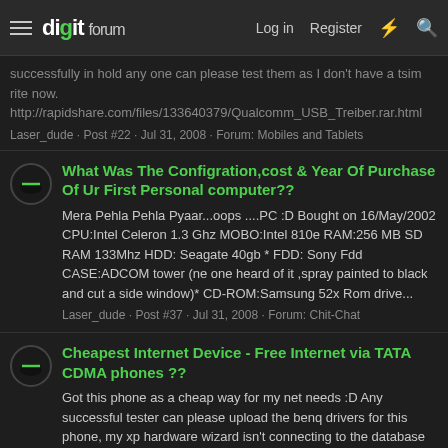digit forum — Log in | Register
successfully in hold any one can please test them as I don't have a tsim rite now.
http://rapidshare.com/files/133640379/Qualcomm_USB_Treiber.rar.html
Laser_dude · Post #22 · Jul 31, 2008 · Forum: Mobiles and Tablets
What Was The Configration,cost & Year Of Purchase Of Ur First Personal computer??
Mera Pehla Pehla Pyaar...oops ....PC :D Bought on 16/May/2002 CPU:Intel Celeron 1.3 Ghz MOBO:Intel 810e RAM:256 MB SD RAM 133Mhz HDD: Seagate 40gb * FDD: Sony Fdd CASE:ADCOM tower (ne one heard of it ,spray painted to black and cut a side window)* CD-ROM:Samsung 52x Rom drive...
Laser_dude · Post #37 · Jul 31, 2008 · Forum: Chit-Chat
Cheapest Internet Device - Free Internet via TATA CDMA phones ??
Got this phone as a cheap way for my net needs :D Any successful tester can please upload the benq drivers for this phone, my xp hardware wizard isn't connecting to the database to download